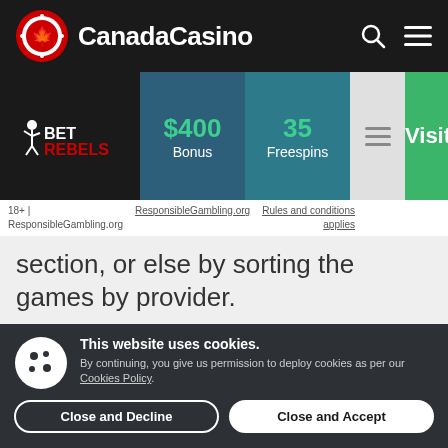CanadaCasino
[Figure (screenshot): BetRebels casino card showing $400 Bonus, 35 Freespins, and Visit button]
18+ | ResponsibleGambling.org   ResponsibleGambling.org   Rules and conditions applies
section, or else by sorting the games by provider.
Table Games
This website uses cookies. By continuing, you give us permission to deploy cookies as per our Cookies Policy.